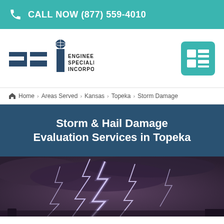CALL NOW (877) 559-4010
[Figure (logo): Engineering Specialists Incorporated (ESI) logo with stylized block letters and menu icon]
Home > Areas Served > Kansas > Topeka > Storm Damage
Storm & Hail Damage Evaluation Services in Topeka
[Figure (photo): Lightning storm photo with multiple lightning bolts against a dark stormy sky]